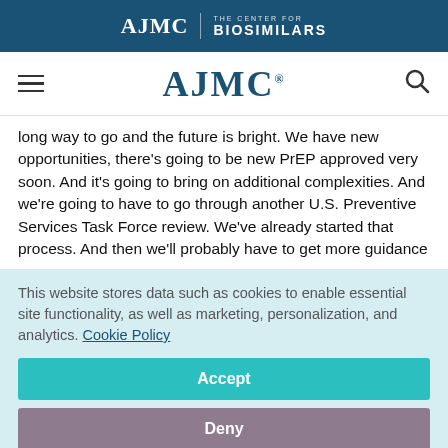AJMC | THE CENTER FOR BIOSIMILARS
AJMC
long way to go and the future is bright. We have new opportunities, there's going to be new PrEP approved very soon. And it's going to bring on additional complexities. And we're going to have to go through another U.S. Preventive Services Task Force review. We've already started that process. And then we'll probably have to get more guidance
This website stores data such as cookies to enable essential site functionality, as well as marketing, personalization, and analytics. Cookie Policy
Accept
Deny